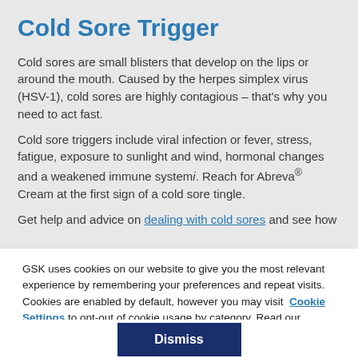Cold Sore Trigger
Cold sores are small blisters that develop on the lips or around the mouth. Caused by the herpes simplex virus (HSV-1), cold sores are highly contagious – that's why you need to act fast.
Cold sore triggers include viral infection or fever, stress, fatigue, exposure to sunlight and wind, hormonal changes and a weakened immune systemi. Reach for Abreva® Cream at the first sign of a cold sore tingle.
Get help and advice on dealing with cold sores and see how Abreva® …
GSK uses cookies on our website to give you the most relevant experience by remembering your preferences and repeat visits. Cookies are enabled by default, however you may visit Cookie Settings to opt-out of cookie usage by category. Read our Cookie Notice
Dismiss